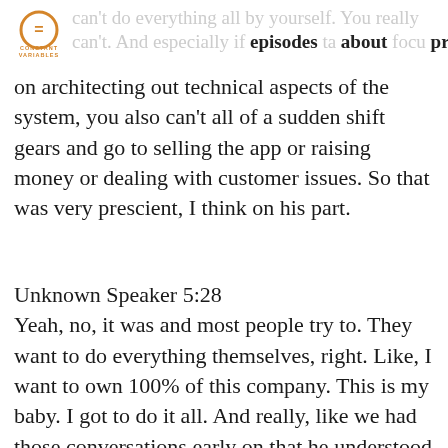can't do everything all by yourself. You really can't. And especially if episodes about press kit
on architecting out technical aspects of the system, you also can't all of a sudden shift gears and go to selling the app or raising money or dealing with customer issues. So that was very prescient, I think on his part.
Unknown Speaker 5:28
Yeah, no, it was and most people try to. They want to do everything themselves, right. Like, I want to own 100% of this company. This is my baby. I got to do it all. And really, like we had those conversations early on that he understood owning a smaller piece of something big was going to be much more important, you know, and beneficial for him than owning something, you know, a large part, a large piece of something that was just not there really.